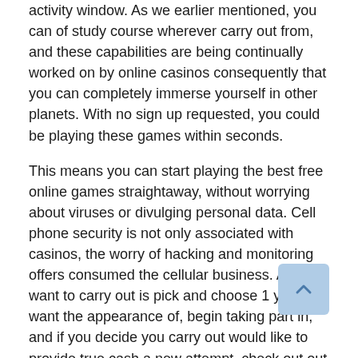activity window. As we earlier mentioned, you can of study course wherever carry out from, and these capabilities are being continually worked on by online casinos consequently that you can completely immerse yourself in other planets. With no sign up requested, you could be playing these games within seconds.
This means you can start playing the best free online games straightaway, without worrying about viruses or divulging personal data. Cell phone security is not only associated with casinos, the worry of hacking and monitoring offers consumed the cellular business. All you want to carry out is pick and choose 1 you want the appearance of, begin taking part in, and if you decide you carry out would like to provide true cash a new attempt, check out out there 1 of our recommended slot machines casinos to have fun with in. There are therefore many amazing casinos online offering great totally free slot machines best right now.
BetSafe is another euro-focused web page licensed at The island of malta, Sweden, and the English. It holds more than a